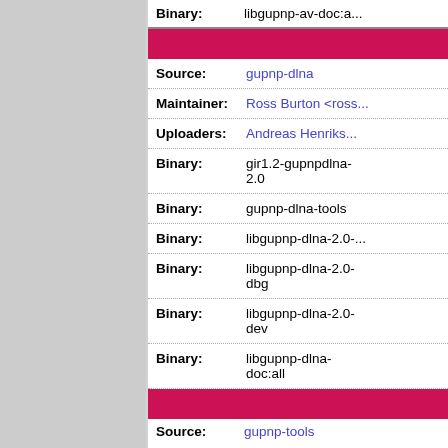Binary: libgupnp-av-doc:a...
| Field | Value |
| --- | --- |
| Source: | gupnp-dlna |
| Maintainer: | Ross Burton <ross... |
| Uploaders: | Andreas Henriks... |
| Binary: | gir1.2-gupnpdlna-2.0 |
| Binary: | gupnp-dlna-tools |
| Binary: | libgupnp-dlna-2.0-... |
| Binary: | libgupnp-dlna-2.0-dbg |
| Binary: | libgupnp-dlna-2.0-dev |
| Binary: | libgupnp-dlna-doc:all |
Source: gupnp-tools